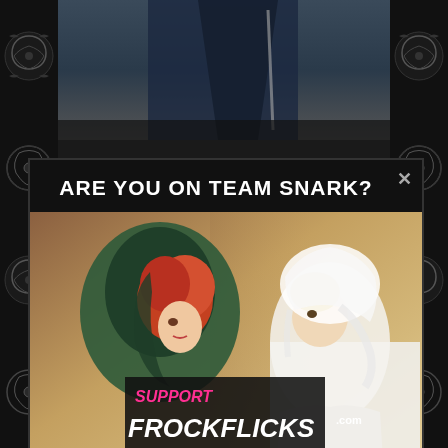[Figure (screenshot): Dark decorative side panels with ornamental scroll designs on left and right edges of page]
[Figure (photo): Top strip showing partial photo of dark fabric/costume with blue tones]
ARE YOU ON TEAM SNARK?
[Figure (photo): Two women in period costumes facing each other — one with red hair wearing a dark green hood, one blonde wearing a white veil/bridal headpiece. Overlay text reads SUPPORT FROCKFLICKS.com]
Give via PayPal, Ko-fi, & Patreon, or buy swag!
[Figure (photo): Bottom strip showing two partial photos of period-costumed figures]